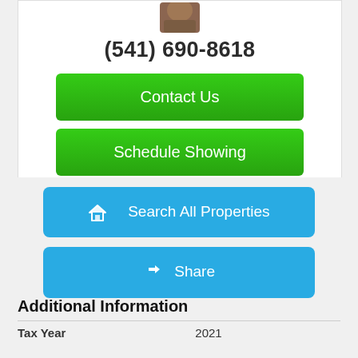[Figure (photo): Agent profile photo (partial, top of head visible)]
(541) 690-8618
Contact Us
Schedule Showing
Search All Properties
Share
Additional Information
| Tax Year | 2021 |
| --- | --- |